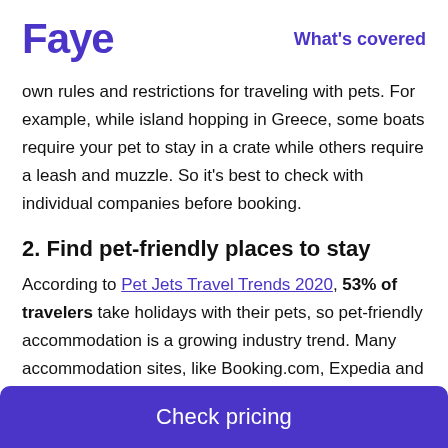Faye   What's covered
own rules and restrictions for traveling with pets. For example, while island hopping in Greece, some boats require your pet to stay in a crate while others require a leash and muzzle. So it's best to check with individual companies before booking.
2. Find pet-friendly places to stay
According to Pet Jets Travel Trends 2020, 53% of travelers take holidays with their pets, so pet-friendly accommodation is a growing industry trend. Many accommodation sites, like Booking.com, Expedia and Airbnb offer pet-friendly filters, so you
Check pricing